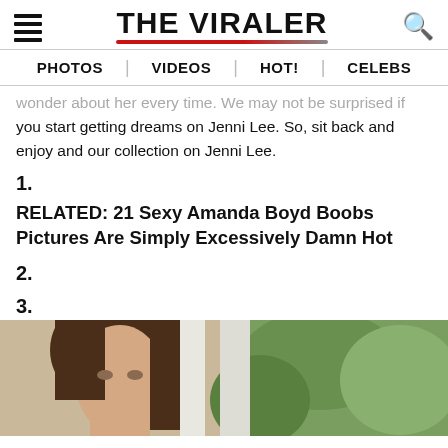THE VIRALER — PHOTOS | VIDEOS | HOT! | CELEBS
wonder about her every time. We may not be surprised if you start getting dreams on Jenni Lee. So, sit back and enjoy and our collection on Jenni Lee.
1.
RELATED: 21 Sexy Amanda Boyd Boobs Pictures Are Simply Excessively Damn Hot
2.
3.
[Figure (photo): A woman with brown hair photographed outdoors near white structure and green foliage]